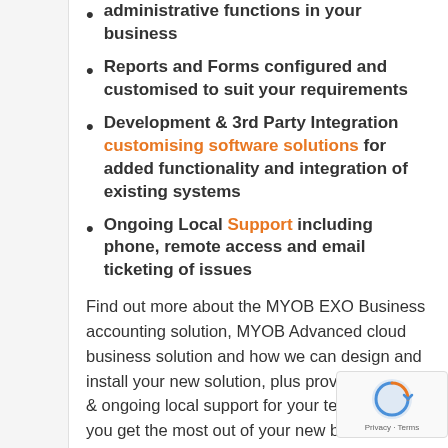administrative functions in your business
Reports and Forms configured and customised to suit your requirements
Development & 3rd Party Integration customising software solutions for added functionality and integration of existing systems
Ongoing Local Support including phone, remote access and email ticketing of issues
Find out more about the MYOB EXO Business accounting solution, MYOB Advanced cloud business solution and how we can design and install your new solution, plus provide training & ongoing local support for your team so that you get the most out of your new business system by contacting us today to find out how Horizon Business Systems can help your business